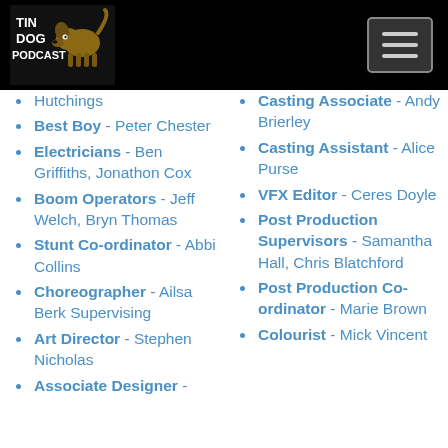TIN DOG PODCAST
Best Boy - Peter Chester
Electricians - Ben Griffiths, Jonathon Cox
Boom Operators - Jeff Welch, Bryn Thomas
Stunt Co-ordinator - Abbi Collins
Choreographer - Ailsa Berk Supervising
Art Director - Stephen Nicholas
Associate Designer -
Casting Associate - Andy Brierley
Casting Assistant - Alice Purse
VFX Editor - Ceres Doyle
Post Production Supervisors - Samantha Hall, Chris Blatchford
Post Production Co-ordinator - Marie Brown
Colourist - Mick Vincent